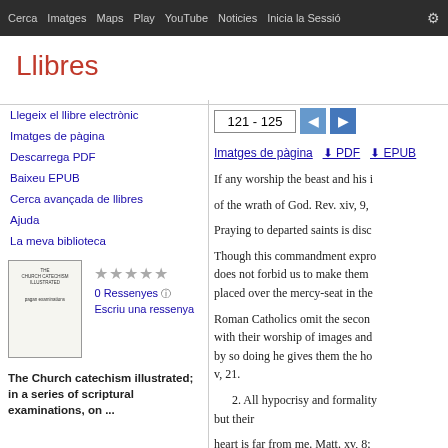Cerca  Imatges  Maps  Play  YouTube  Noticies  Inicia la Sessió  ⚙
Llibres
Llegeix el llibre electrònic
Imatges de pàgina
Descarrega PDF
Baixeu EPUB
Cerca avançada de llibres
Ajuda
La meva biblioteca
[Figure (illustration): Book cover thumbnail for The Church catechism illustrated]
0 Ressenyes
Escriu una ressenya
The Church catechism illustrated; in a series of scriptural examinations, on ...
121 - 125
Imatges de pàgina  ⬇ PDF  ⬇ EPUB
If any worship the beast and his i
of the wrath of God. Rev. xiv, 9,
Praying to departed saints is disc
Though this commandment expro
does not forbid us to make them
placed over the mercy-seat in the
Roman Catholics omit the secon
with their worship of images and
by so doing he gives them the ho
v, 21.
   2. All hypocrisy and formality
but their
heart is far from me. Matt. xv, 8;